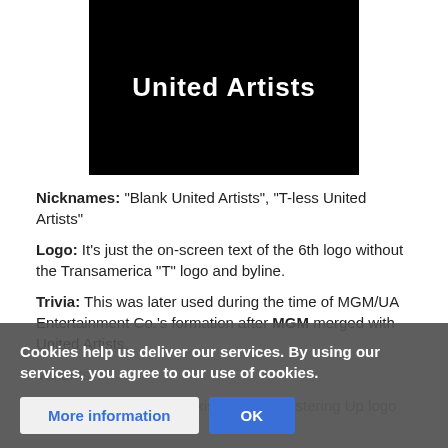[Figure (logo): United Artists logo — white bold text 'United Artists' on a black background]
Nicknames: "Blank United Artists", "T-less United Artists"
Logo: It's just the on-screen text of the 6th logo without the Transamerica "T" logo and byline.
Trivia: This was later used during the time of MGM/UA Entertainment Co.'s formation after MGM merged with United Artists.
Variants:
A videotaped version exists where plastering...
Cookies help us deliver our services. By using our services, you agree to our use of cookies.